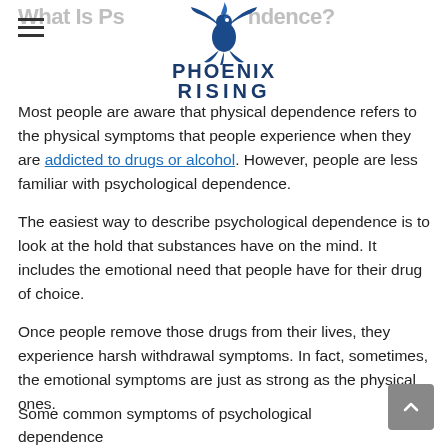What Is Psychological Dependence?
[Figure (logo): Phoenix Rising logo with stylized bird and text PHOENIX RISING in dark blue]
Most people are aware that physical dependence refers to the physical symptoms that people experience when they are addicted to drugs or alcohol. However, people are less familiar with psychological dependence.
The easiest way to describe psychological dependence is to look at the hold that substances have on the mind. It includes the emotional need that people have for their drug of choice.
Once people remove those drugs from their lives, they experience harsh withdrawal symptoms. In fact, sometimes, the emotional symptoms are just as strong as the physical ones.
Some common symptoms of psychological dependence